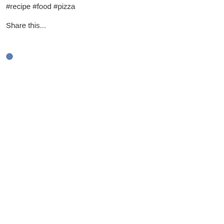#recipe #food #pizza
Share this...
[Figure (other): Small blue circular icon/button]